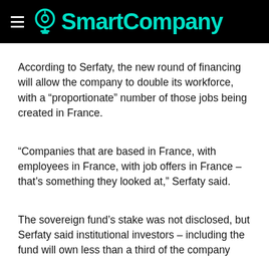SmartCompany
According to Serfaty, the new round of financing will allow the company to double its workforce, with a “proportionate” number of those jobs being created in France.
“Companies that are based in France, with employees in France, with job offers in France – that’s something they looked at,” Serfaty said.
The sovereign fund’s stake was not disclosed, but Serfaty said institutional investors – including the fund will own less than a third of the company